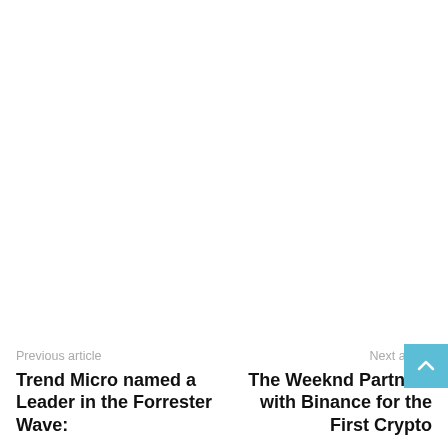Previous article
Trend Micro named a Leader in the Forrester Wave:
Next article
The Weeknd Partners with Binance for the First Crypto